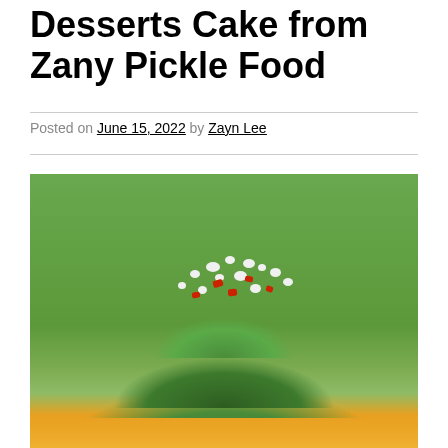Desserts Cake from Zany Pickle Food
Posted on June 15, 2022 by Zayn Lee
[Figure (photo): A pile of food resembling a cake made with greens, crumbled white cheese, and red peppers on an orange plate against a green background]